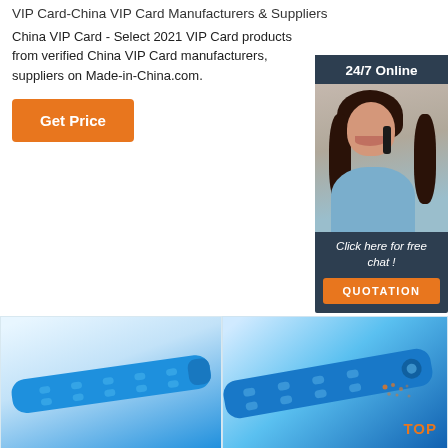VIP Card-China VIP Card Manufacturers & Suppliers
China VIP Card - Select 2021 VIP Card products from verified China VIP Card manufacturers, suppliers on Made-in-China.com.
[Figure (screenshot): Orange 'Get Price' button]
[Figure (photo): 24/7 Online chat widget with customer service representative photo, 'Click here for free chat!' text, and orange QUOTATION button on dark navy background]
[Figure (photo): Two product photos of blue plastic wristbands/VIP cards side by side. Right image has a TOP badge logo.]